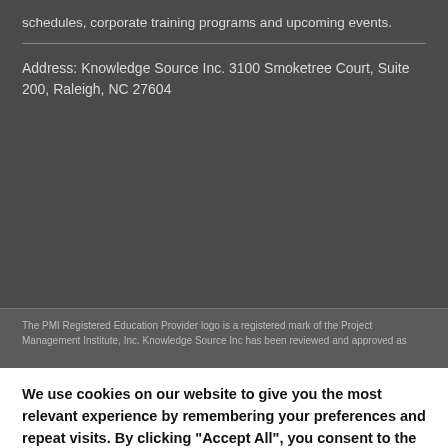schedules, corporate training programs and upcoming events.
Address: Knowledge Source Inc. 3100 Smoketree Court, Suite 200, Raleigh, NC 27604
The PMI Registered Education Provider logo is a registered mark of the Project Management Institute, Inc. Knowledge Source Inc has been reviewed and approved as
We use cookies on our website to give you the most relevant experience by remembering your preferences and repeat visits. By clicking "Accept All", you consent to the use of ALL the cookies. However, you may visit "Cookie Settings" to provide a controlled consent.
Cookie Settings
Accept All